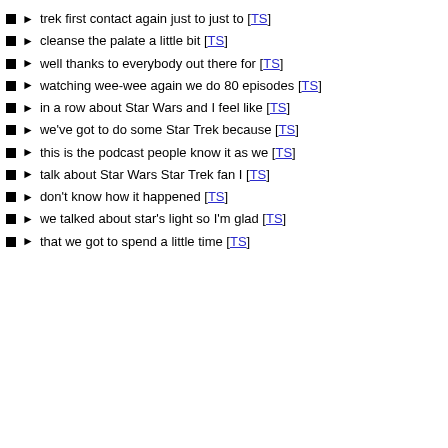trek first contact again just to just to [TS]
cleanse the palate a little bit [TS]
well thanks to everybody out there for [TS]
watching wee-wee again we do 80 episodes [TS]
in a row about Star Wars and I feel like [TS]
we've got to do some Star Trek because [TS]
this is the podcast people know it as we [TS]
talk about Star Wars Star Trek fan I [TS]
don't know how it happened [TS]
we talked about star's light so I'm glad [TS]
that we got to spend a little time [TS]